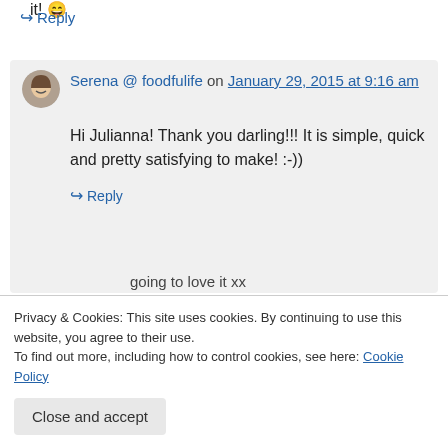it! 😄
↪ Reply
Serena @ foodfulife on January 29, 2015 at 9:16 am
Hi Julianna! Thank you darling!!! It is simple, quick and pretty satisfying to make! :-))
↪ Reply
going to love it xx
Privacy & Cookies: This site uses cookies. By continuing to use this website, you agree to their use. To find out more, including how to control cookies, see here: Cookie Policy
Close and accept